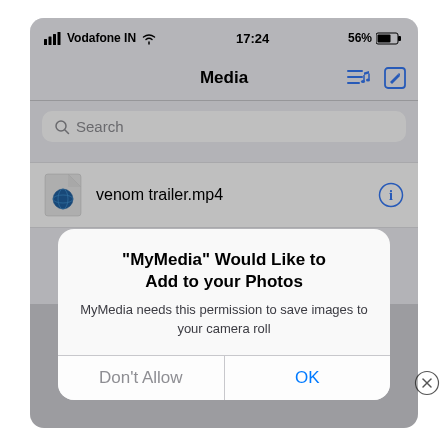[Figure (screenshot): iOS device screenshot showing the MyMedia app's Media screen with a file 'venom trailer.mp4' listed, overlaid by a system permission alert dialog: '"MyMedia" Would Like to Add to your Photos' with message 'MyMedia needs this permission to save images to your camera roll' and buttons 'Don't Allow' and 'OK'. Status bar shows Vodafone IN, 17:24, 56% battery.]